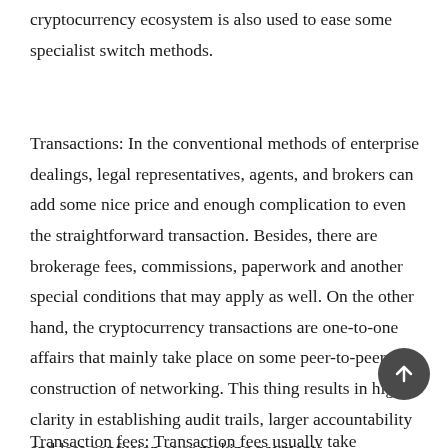cryptocurrency ecosystem is also used to ease some specialist switch methods.
Transactions: In the conventional methods of enterprise dealings, legal representatives, agents, and brokers can add some nice price and enough complication to even the straightforward transaction. Besides, there are brokerage fees, commissions, paperwork and another special conditions that may apply as well. On the other hand, the cryptocurrency transactions are one-to-one affairs that mainly take place on some peer-to-peer construction of networking. This thing results in higher clarity in establishing audit trails, larger accountability and less confusion over making payments.
Transaction fees: Transaction fees usually take sufficient bits...